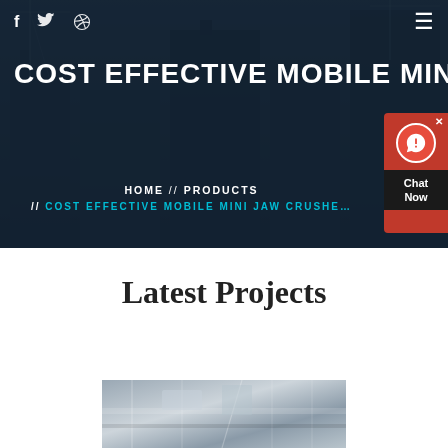f  (twitter)  (dribbble)  ≡
COST EFFECTIVE MOBILE MINI J…
HOME // PRODUCTS // COST EFFECTIVE MOBILE MINI JAW CRUSHER
[Figure (infographic): Chat Now widget — red circular icon with headset on dark background]
Latest Projects
[Figure (photo): Industrial machinery / jaw crusher equipment photo]